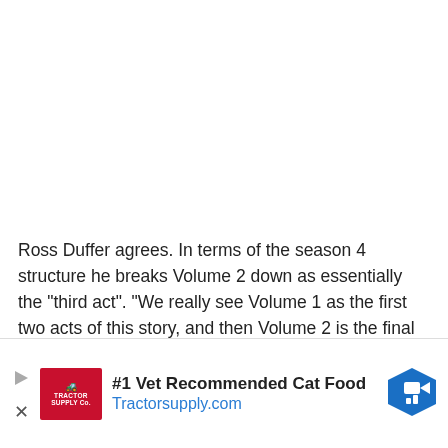Ross Duffer agrees. In terms of the season 4 structure he breaks Volume 2 down as essentially the "third act". "We really see Volume 1 as the first two acts of this story, and then Volume 2 is the final act," he tells Netflix's Tudum.
How long are the Stranger Things 4 episodes?
[Figure (other): Advertisement banner: Tractor Supply Co. logo with text '#1 Vet Recommended Cat Food' and 'Tractorsupply.com', with a blue navigation icon on the right.]